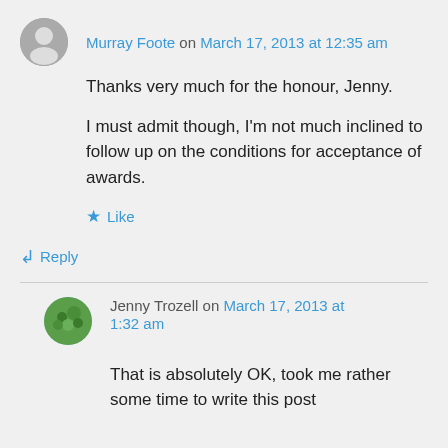Murray Foote on March 17, 2013 at 12:35 am
Thanks very much for the honour, Jenny.
I must admit though, I'm not much inclined to follow up on the conditions for acceptance of awards.
Like
Reply
Jenny Trozell on March 17, 2013 at 1:32 am
That is absolutely OK, took me rather some time to write this post